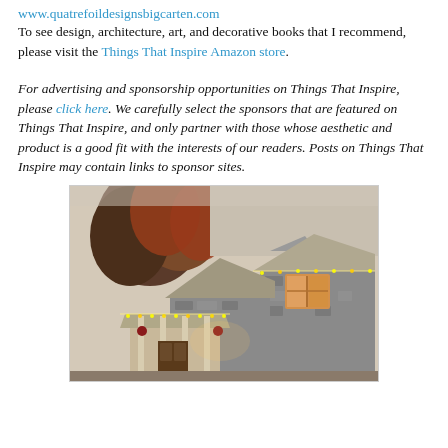www.quatrefoildesignsbigcarten.com To see design, architecture, art, and decorative books that I recommend, please visit the Things That Inspire Amazon store.
For advertising and sponsorship opportunities on Things That Inspire, please click here. We carefully select the sponsors that are featured on Things That Inspire, and only partner with those whose aesthetic and product is a good fit with the interests of our readers. Posts on Things That Inspire may contain links to sponsor sites.
[Figure (photo): Exterior photo of a stone house with warm lighting, trees in background with autumn foliage, decorative lights along roofline, covered porch entrance]